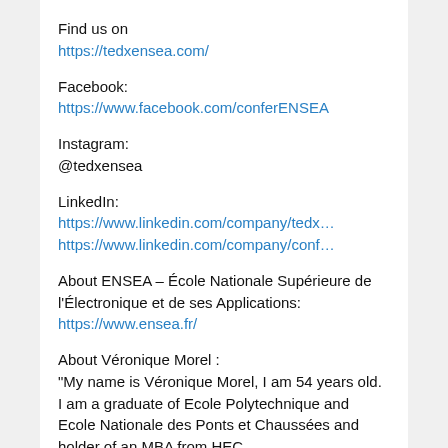Find us on
https://tedxensea.com/
Facebook:
https://www.facebook.com/conferENSEA
Instagram:
@tedxensea
LinkedIn:
https://www.linkedin.com/company/tedx…
https://www.linkedin.com/company/conf…
About ENSEA – École Nationale Supérieure de l'Électronique et de ses Applications:
https://www.ensea.fr/
About Véronique Morel :
“My name is Véronique Morel, I am 54 years old. I am a graduate of Ecole Polytechnique and Ecole Nationale des Ponts et Chaussées and holder of an MBA from HEC.
I started my career in July 1999 at PSA and have